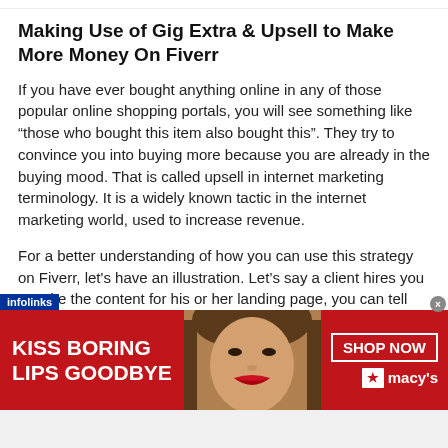Making Use of Gig Extra & Upsell to Make More Money On Fiverr
If you have ever bought anything online in any of those popular online shopping portals, you will see something like “those who bought this item also bought this”. They try to convince you into buying more because you are already in the buying mood. That is called upsell in internet marketing terminology. It is a widely known tactic in the internet marketing world, used to increase revenue.
For a better understanding of how you can use this strategy on Fiverr, let’s have an illustration. Let’s say a client hires you to write the content for his or her landing page, you can tell them that you can also write follow up emails for them.
[Figure (photo): Advertisement banner for Macy's lipstick promotion: red background with woman's face and red lips in center, 'KISS BORING LIPS GOODBYE' on the left, 'SHOP NOW' button and Macy's logo with star on the right. 'infolinks' label in bottom-left corner.]